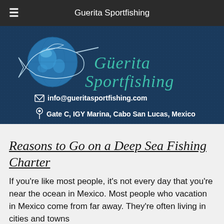Guerita Sportfishing
[Figure (logo): Güerita Sportfishing logo banner with globe, marlin fish illustration and teal cursive brand name on dark blue background, with email info@gueritasportfishing.com and location Gate C, IGY Marina, Cabo San Lucas, Mexico]
Reasons to Go on a Deep Sea Fishing Charter
If you're like most people, it's not every day that you're near the ocean in Mexico. Most people who vacation in Mexico come from far away. They're often living in cities and towns